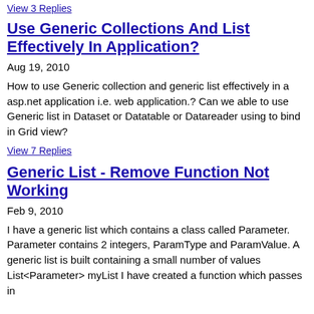View 3 Replies
Use Generic Collections And List Effectively In Application?
Aug 19, 2010
How to use Generic collection and generic list effectively in a asp.net application i.e. web application.? Can we able to use Generic list in Dataset or Datatable or Datareader using to bind in Grid view?
View 7 Replies
Generic List - Remove Function Not Working
Feb 9, 2010
I have a generic list which contains a class called Parameter. Parameter contains 2 integers, ParamType and ParamValue. A generic list is built containing a small number of values List<Parameter> myList I have created a function which passes in